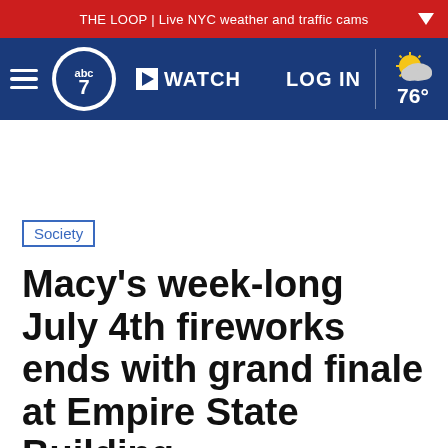THE LOOP | Live NYC weather and traffic cams
[Figure (logo): ABC7 News navigation bar with hamburger menu, ABC7 logo, WATCH button, LOG IN link, and weather showing 76° with partly cloudy icon]
Society
Macy's week-long July 4th fireworks ends with grand finale at Empire State Building